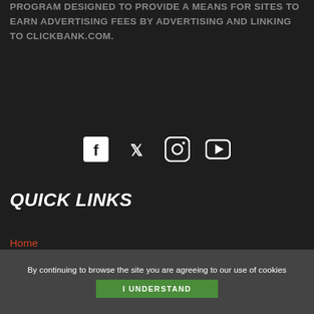PROGRAM DESIGNED TO PROVIDE A MEANS FOR SITES TO EARN ADVERTISING FEES BY ADVERTISING AND LINKING TO CLICKBANK.COM.
[Figure (other): Social media icons: Facebook, Twitter, Instagram, YouTube]
QUICK LINKS
Home
Blog
Shop
Contact Us
About
Legal
By continuing to browse the site you are agreeing to our use of cookies
I UNDERSTAND